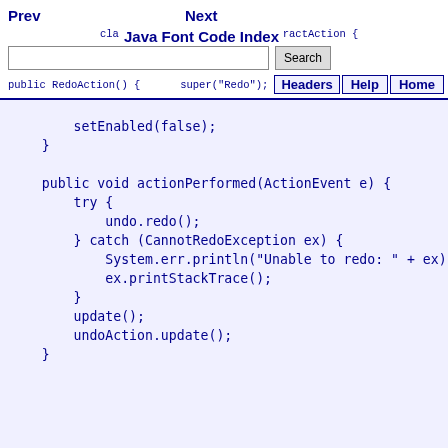Prev   Next   Java Font Code Index   Search   Headers   Help   Home
class RedoAction extends AbstractAction {
    public RedoAction() {
        super("Redo");
        setEnabled(false);
    }

    public void actionPerformed(ActionEvent e) {
        try {
            undo.redo();
        } catch (CannotRedoException ex) {
            System.err.println("Unable to redo: " + ex);
            ex.printStackTrace();
        }
        update();
        undoAction.update();
    }

    protected void update() {
        if(undo.canRedo()) {
            setEnabled(true);
            putValue(Action.NAME,
            undo.getRedoPresentationName());
        }else {